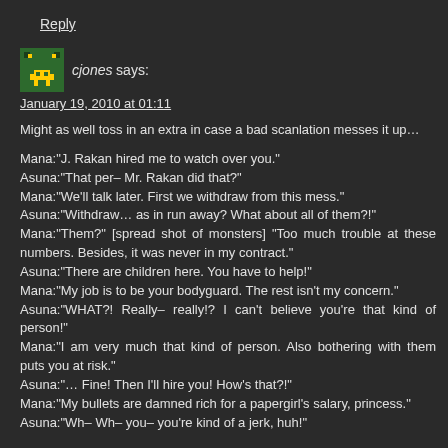Reply
cjones says:
January 19, 2010 at 01:11
Might as well toss in an extra in case a bad scanlation messes it up…
Mana:"J. Rakan hired me to watch over you."
Asuna:"That per– Mr. Rakan did that?"
Mana:"We'll talk later. First we withdraw from this mess."
Asuna:"Withdraw… as in run away? What about all of them?!"
Mana:"Them?" [spread shot of monsters] "Too much trouble at these numbers. Besides, it was never in my contract."
Asuna:"There are children here. You have to help!"
Mana:"My job is to be your bodyguard. The rest isn't my concern."
Asuna:"WHAT?! Really– really!? I can't believe you're that kind of person!"
Mana:"I am very much that kind of person. Also bothering with them puts you at risk."
Asuna:"… Fine! Then I'll hire you! How's that?!"
Mana:"My bullets are damned rich for a papergirl's salary, princess."
Asuna:"Wh– Wh– you– you're kind of a jerk, huh!"